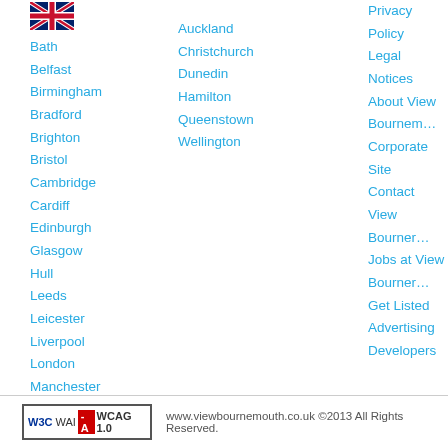[Figure (illustration): UK flag (Union Jack) icon]
Bath
Belfast
Birmingham
Bradford
Brighton
Bristol
Cambridge
Cardiff
Edinburgh
Glasgow
Hull
Leeds
Leicester
Liverpool
London
Manchester
Newcastle
Nottingham
Oxford
Sheffield
Auckland
Christchurch
Dunedin
Hamilton
Queenstown
Wellington
Privacy Policy
Legal Notices
About View Bournemouth
Corporate Site
Contact View Bournemouth
Jobs at View Bournemouth
Get Listed
Advertising
Developers
www.viewbournemouth.co.uk ©2013 All Rights Reserved.